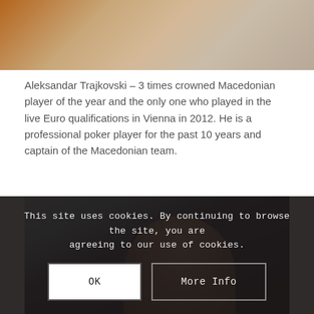[Figure (photo): Top portion of a photo showing a person, cropped at the torso/shoulder area with warm brown tones]
Aleksandar Trajkovski – 3 times crowned Macedonian player of the year and the only one who played in the live Euro qualifications in Vienna in 2012. He is a professional poker player for the past 10 years and captain of the Macedonian team.
[Figure (photo): Photo of a man with dark hair against a blue and dark background, partially obscured by cookie consent overlay]
This site uses cookies. By continuing to browse the site, you are agreeing to our use of cookies.
OK
More Info